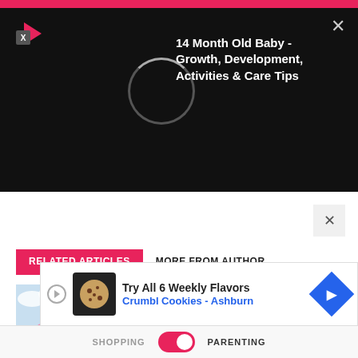[Figure (screenshot): Video player overlay bar showing a loading circle and title '14 Month Old Baby - Growth, Development, Activities & Care Tips' on black background with pink top bar and play icon]
14 Month Old Baby - Growth, Development, Activities & Care Tips
RELATED ARTICLES   MORE FROM AUTHOR
[Figure (photo): Baby lying on stomach in pink outfit on light blue background]
How to Tell If Your Baby Has Colic
[Figure (photo): Mother and child smiling together]
Why You Should Be Brushing Your Child's Teeth and Not They Themselves
[Figure (screenshot): Advertisement banner: Try All 6 Weekly Flavors - Crumbl Cookies - Ashburn]
SHOPPING   PARENTING